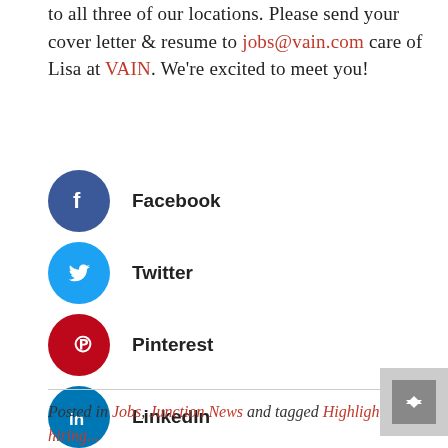to all three of our locations. Please send your cover letter & resume to jobs@vain.com care of Lisa at VAIN. We're excited to meet you!
Facebook
Twitter
Pinterest
LinkedIn
reddit
Gmail
Posted in Jobs, Junction News and tagged Highlight, hiring...